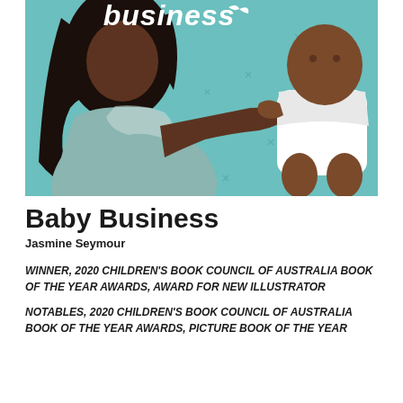[Figure (illustration): Book cover of Baby Business showing an illustration of a woman with dark skin and long hair holding up a baby on a teal/turquoise background with small cross/star decorations. The word 'business' appears at the top in white stylized text with a small bird/wing icon.]
Baby Business
Jasmine Seymour
WINNER, 2020 CHILDREN'S BOOK COUNCIL OF AUSTRALIA BOOK OF THE YEAR AWARDS, AWARD FOR NEW ILLUSTRATOR
NOTABLES, 2020 CHILDREN'S BOOK COUNCIL OF AUSTRALIA BOOK OF THE YEAR AWARDS, PICTURE BOOK OF THE YEAR